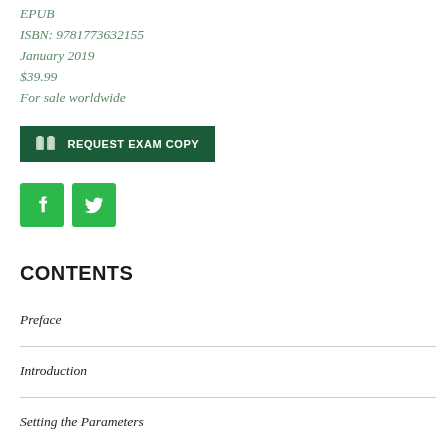EPUB
ISBN: 9781773632155
January 2019
$39.99
For sale worldwide
[Figure (other): Green button with book icon reading REQUEST EXAM COPY]
[Figure (other): Green Facebook and Twitter social media icon buttons]
CONTENTS
Preface
Introduction
Setting the Parameters